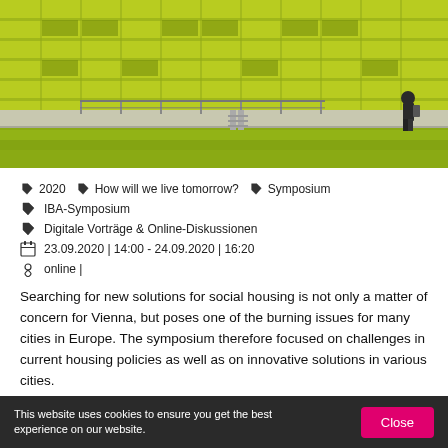[Figure (photo): Outdoor industrial or architectural scene with yellow-green structures, a reflective water pool or basin in the foreground, a walkway with railings, and a person with a backpack walking along the walkway.]
2020   How will we live tomorrow?   Symposium
IBA-Symposium
Digitale Vorträge & Online-Diskussionen
23.09.2020 | 14:00 - 24.09.2020 | 16:20
online |
Searching for new solutions for social housing is not only a matter of concern for Vienna, but poses one of the burning issues for many cities in Europe. The symposium therefore focused on challenges in current housing policies as well as on innovative solutions in various cities.
This website uses cookies to ensure you get the best experience on our website.